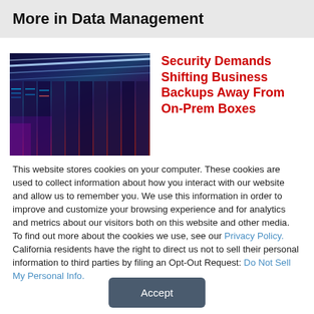More in Data Management
[Figure (photo): Data center server racks with blue and purple lighting, illuminated ceiling strips]
Security Demands Shifting Business Backups Away From On-Prem Boxes
This website stores cookies on your computer. These cookies are used to collect information about how you interact with our website and allow us to remember you. We use this information in order to improve and customize your browsing experience and for analytics and metrics about our visitors both on this website and other media. To find out more about the cookies we use, see our Privacy Policy. California residents have the right to direct us not to sell their personal information to third parties by filing an Opt-Out Request: Do Not Sell My Personal Info.
Accept